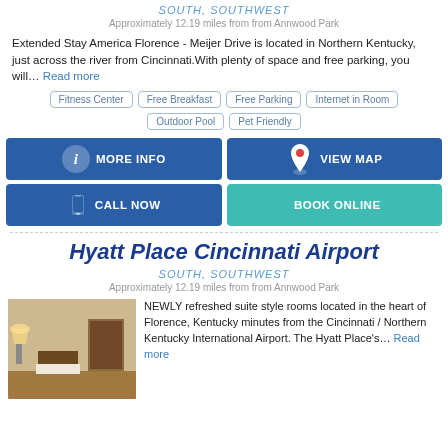SOUTH, SOUTHWEST
Approximately 12.19 miles from from Annwood Park
Extended Stay America Florence - Meijer Drive is located in Northern Kentucky, just across the river from Cincinnati.With plenty of space and free parking, you will... Read more
Fitness Center
Free Breakfast
Free Parking
Internet in Room
Outdoor Pool
Pet Friendly
MORE INFO
VIEW MAP
CALL NOW
BOOK ONLINE
Hyatt Place Cincinnati Airport
SOUTH, SOUTHWEST
Approximately 12.19 miles from from Annwood Park
[Figure (photo): Hotel room interior photo showing warm-lit room]
NEWLY refreshed suite style rooms located in the heart of Florence, Kentucky minutes from the Cincinnati / Northern Kentucky International Airport. The Hyatt Place's... Read more